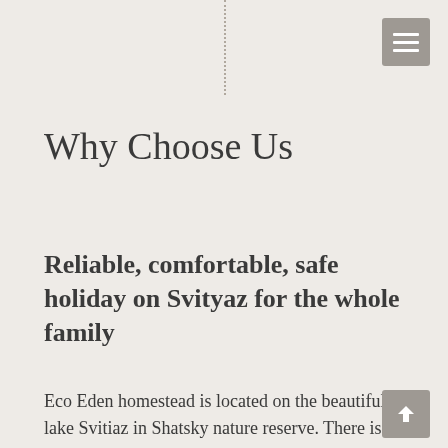Why Choose Us
Reliable, comfortable, safe holiday on Svityaz for the whole family
Eco Eden homestead is located on the beautiful lake Svitiaz in Shatsky nature reserve. There is a